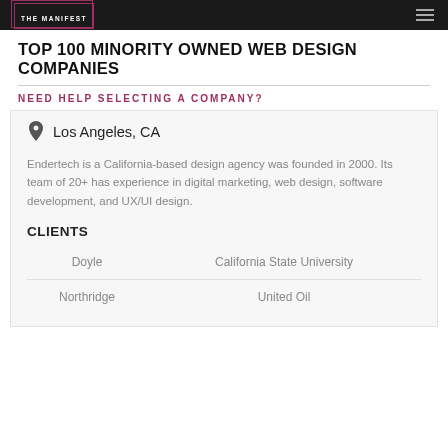THE MANIFEST
TOP 100 MINORITY OWNED WEB DESIGN COMPANIES
NEED HELP SELECTING A COMPANY?
Los Angeles, CA
Endertech is a California-based design agency was founded in 2000. Its team of 20+ has experience in digital marketing, web design, software development, and UX/UI design.
CLIENTS
|  |  |
| --- | --- |
| Doyle | California State University |
| Northridge | United Oil |